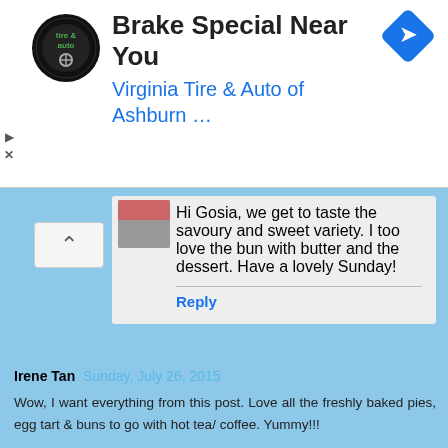[Figure (screenshot): Advertisement banner for Virginia Tire & Auto of Ashburn with logo and navigation icon]
Hi Gosia, we get to taste the savoury and sweet variety. I too love the bun with butter and the dessert. Have a lovely Sunday!
Reply
Irene Tan  Sunday, July 26, 2015
Wow, I want everything from this post. Love all the freshly baked pies, egg tart & buns to go with hot tea/ coffee. Yummy!!!
Reply
Replies
Nancy Chan  Sunday, July 26, 2015